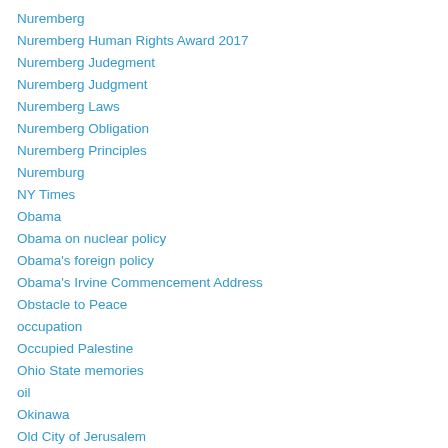Nuremberg
Nuremberg Human Rights Award 2017
Nuremberg Judegment
Nuremberg Judgment
Nuremberg Laws
Nuremberg Obligation
Nuremberg Principles
Nuremburg
NY Times
Obama
Obama on nuclear policy
Obama's foreign policy
Obama's Irvine Commencement Address
Obstacle to Peace
occupation
Occupied Palestine
Ohio State memories
oil
Okinawa
Old City of Jerusalem